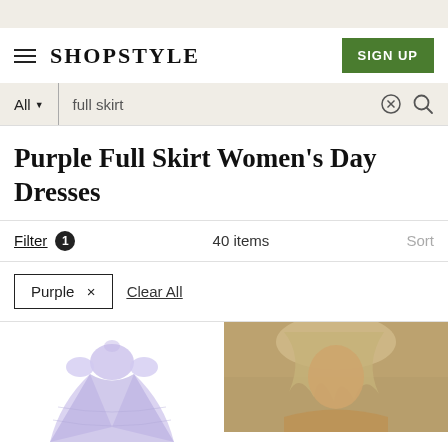SHOPSTYLE | SIGN UP
All | full skirt
Purple Full Skirt Women's Day Dresses
Filter 1   40 items   Sort
Purple ×   Clear All
[Figure (photo): Purple tulle/sheer full skirt dress with puff sleeves]
[Figure (photo): Blonde woman wearing a dress outdoors in a field]